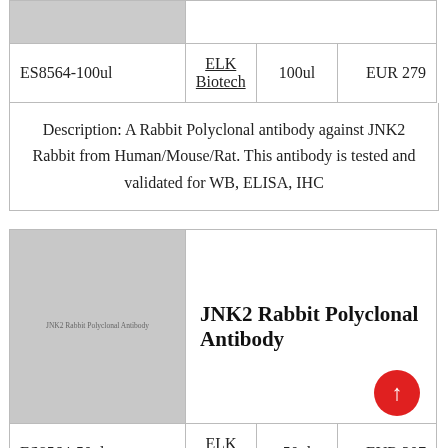| ES8564-100ul | ELK Biotech | 100ul | EUR 279 |
Description: A Rabbit Polyclonal antibody against JNK2 Rabbit from Human/Mouse/Rat. This antibody is tested and validated for WB, ELISA, IHC
[Figure (photo): Greyed out placeholder image for JNK2 Rabbit Polyclonal Antibody product with label text]
JNK2 Rabbit Polyclonal Antibody
| ES8564-50ul | ELK Biotech | 50ul | EUR 207 |
Description: A Rabbit Polyclonal antibody against JNK2 Rabbit from Human/Mouse/Rat. This antibody is tested and validated for WB, ELISA, IHC